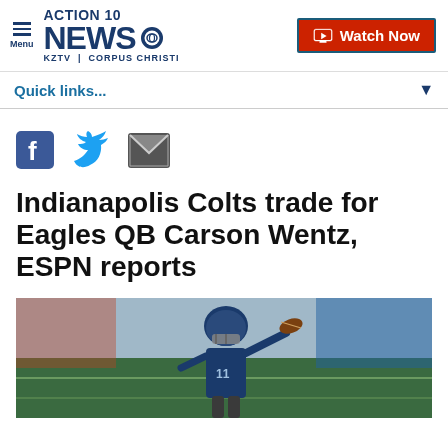ACTION 10 NEWS KZTV | CORPUS CHRISTI — Watch Now
Quick links...
[Figure (logo): Social sharing icons: Facebook, Twitter, Email]
Indianapolis Colts trade for Eagles QB Carson Wentz, ESPN reports
[Figure (photo): Football quarterback in Eagles uniform throwing a pass]